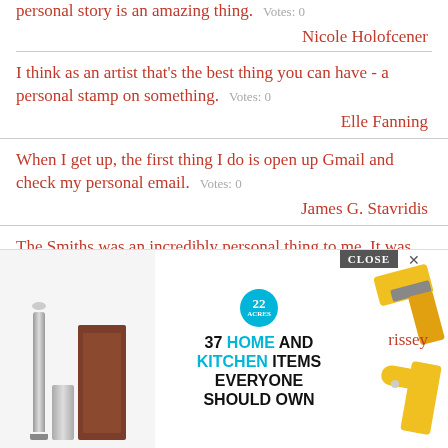personal story is an amazing thing.  Votes: 0
Nicole Holofcener
I think as an artist that's the best thing you can have - a personal stamp on something.  Votes: 0
Elle Fanning
When I get up, the first thing I do is open up Gmail and check my personal email.  Votes: 0
James G. Stavridis
The Smiths was an incredibly personal thing to me. It was like launching your own diary to music
rissey
[Figure (screenshot): Advertisement overlay showing '37 HOME AND KITCHEN ITEMS EVERYONE SHOULD OWN' with a badge reading '22' and product images of kitchen tools, with a CLOSE button]